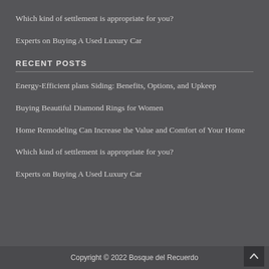Which kind of settlement is appropriate for you?
Experts on Buying A Used Luxury Car
RECENT POSTS
Energy-Efficient plans Siding: Benefits, Options, and Upkeep
Buying Beautiful Diamond Rings for Women
Home Remodeling Can Increase the Value and Comfort of Your Home
Which kind of settlement is appropriate for you?
Experts on Buying A Used Luxury Car
Copyright © 2022 Bosque del Recuerdo